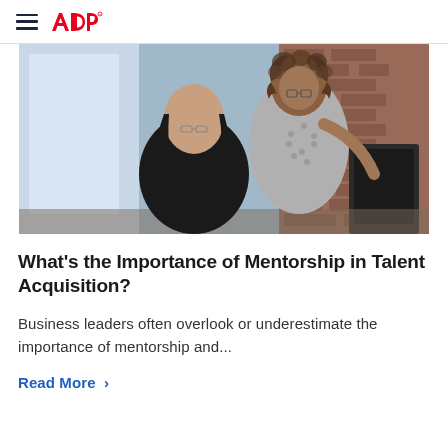ADP
[Figure (photo): Two women in an office setting — one seated with long dark hair looking at a monitor, another standing with curly hair leaning over to assist, brick wall visible in background]
What's the Importance of Mentorship in Talent Acquisition?
Business leaders often overlook or underestimate the importance of mentorship and...
Read More >